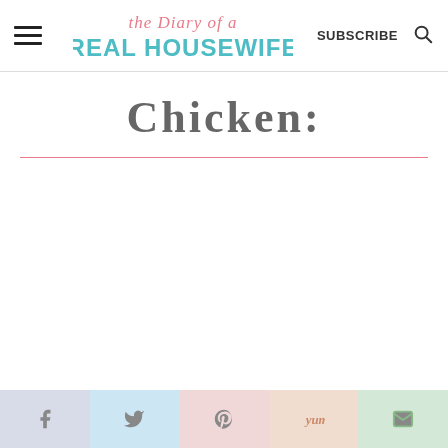the Diary of a Real Housewife — SUBSCRIBE
Chicken:
Social share bar: facebook, twitter, pinterest, yummly, email